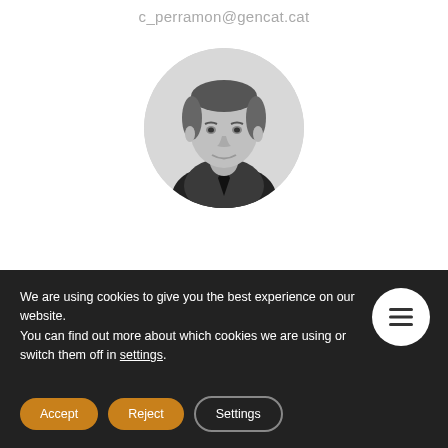c_perramon@gencat.cat
[Figure (photo): Black and white circular portrait photo of a middle-aged man in a suit and tie, smiling slightly.]
We are using cookies to give you the best experience on our website.
You can find out more about which cookies we are using or switch them off in settings.
Accept
Reject
Settings